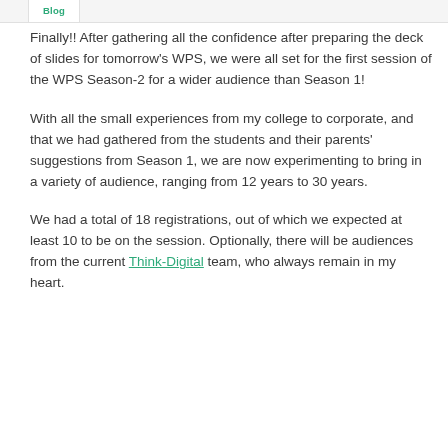Blog
Finally!! After gathering all the confidence after preparing the deck of slides for tomorrow's WPS, we were all set for the first session of the WPS Season-2 for a wider audience than Season 1!
With all the small experiences from my college to corporate, and that we had gathered from the students and their parents' suggestions from Season 1, we are now experimenting to bring in a variety of audience, ranging from 12 years to 30 years.
We had a total of 18 registrations, out of which we expected at least 10 to be on the session. Optionally, there will be audiences from the current Think-Digital team, who always remain in my heart.